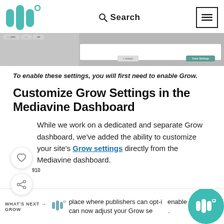[Figure (screenshot): Mediavine website header with teal logo, Search bar with magnifying glass icon, and hamburger menu icon in a bordered square]
[Figure (screenshot): Partial screenshot of a dashboard UI showing tabs, a white content panel, a gray button and a teal Save Settings button]
To enable these settings, you will first need to enable Grow.
Customize Grow Settings in the Mediavine Dashboard
While we work on a dedicated and separate Grow dashboard, we've added the ability to customize your site's Grow settings directly from the Mediavine dashboard.
place where publishers can opt-in enable Grow, you can now adjust your Grow settings.